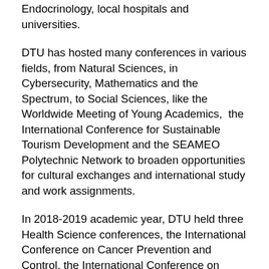Endocrinology, local hospitals and universities.
DTU has hosted many conferences in various fields, from Natural Sciences, in Cybersecurity, Mathematics and the Spectrum, to Social Sciences, like the Worldwide Meeting of Young Academics,  the International Conference for Sustainable Tourism Development and the SEAMEO Polytechnic Network to broaden opportunities for cultural exchanges and international study and work assignments.
In 2018-2019 academic year, DTU held three Health Science conferences, the International Conference on Cancer Prevention and Control, the International Conference on Nanomaterials for Healthcare and a seminar on Nutrition's Role in Disease Prevention.